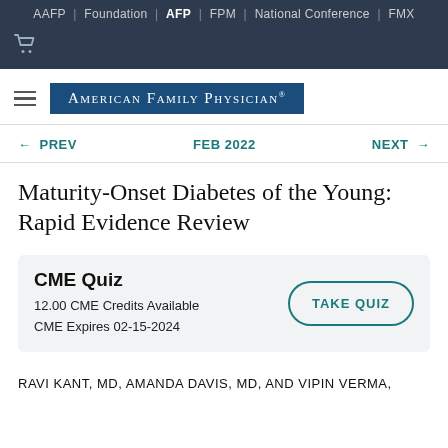AAFP | Foundation | AFP | FPM | National Conference | FMX
[Figure (logo): Shopping cart icon in top nav bar]
[Figure (logo): American Family Physician logo with blue background]
← PREV   FEB 2022   NEXT →
Maturity-Onset Diabetes of the Young: Rapid Evidence Review
CME Quiz
12.00 CME Credits Available
CME Expires 02-15-2024
TAKE QUIZ
RAVI KANT, MD, AMANDA DAVIS, MD, AND VIPIN VERMA,